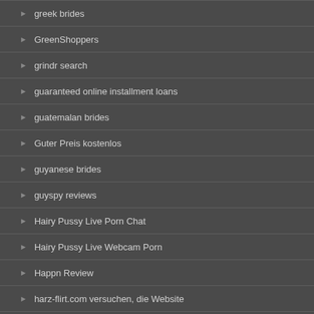greek brides
GreenShoppers
grindr search
guaranteed online installment loans
guatemalan brides
Guter Preis kostenlos
guyanese brides
guyspy reviews
Hairy Pussy Live Porn Chat
Hairy Pussy Live Webcam Porn
Happn Review
harz-flirt.com versuchen, die Website
Health